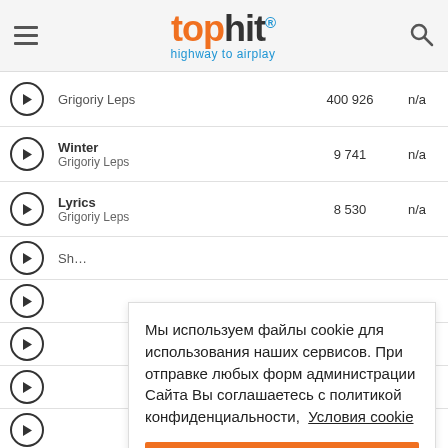tophit® highway to airplay
|  | Track / Artist | Count |  |
| --- | --- | --- | --- |
| ▶ | Grigoriy Leps | 400 926 | n/a |
| ▶ | Winter
Grigoriy Leps | 9 741 | n/a |
| ▶ | Lyrics
Grigoriy Leps | 8 530 | n/a |
Мы используем файлы cookie для использования наших сервисов. При отправке любых форм администрации Сайта Вы соглашаетесь с политикой конфиденциальности,  Условия cookie
Понятно